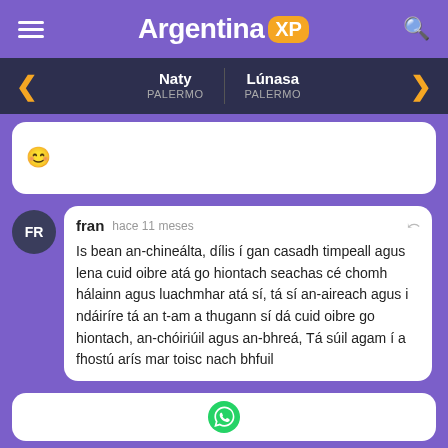Argentina XP
Naty PALERMO | Lúnasa PALERMO
😊
fran hace 11 meses
Is bean an-chineálta, dílis í gan casadh timpeall agus lena cuid oibre atá go hiontach seachas cé chomh hálainn agus luachmhar atá sí, tá sí an-aireach agus i ndáiríre tá an t-am a thugann sí dá cuid oibre go hiontach, an-chóiriúil agus an-bhreá, Tá súil agam í a fhostú arís mar toisc nach bhfuil
[Figure (logo): WhatsApp icon button]